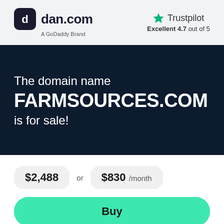[Figure (logo): dan.com logo — dark rounded square icon with stylized 'c' and 'd', text 'dan.com' in bold, subtitle 'A GoDaddy Brand']
[Figure (logo): Trustpilot logo — green star icon with 'Trustpilot' text, rating 'Excellent 4.7 out of 5']
The domain name FARMSOURCES.COM is for sale!
$2,488 or $830 /month
Buy